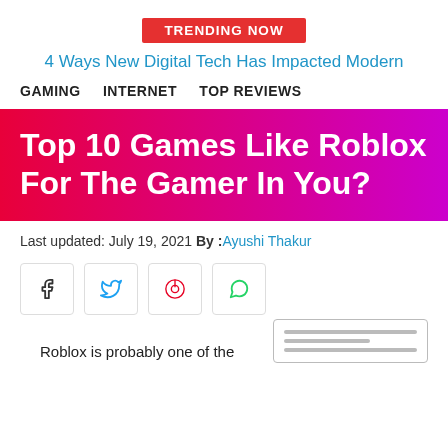[Figure (other): Red badge with white text reading TRENDING NOW]
4 Ways New Digital Tech Has Impacted Modern
GAMING   INTERNET   TOP REVIEWS
Top 10 Games Like Roblox For The Gamer In You?
Last updated: July 19, 2021  By : Ayushi Thakur
[Figure (other): Social sharing buttons: Facebook, Twitter, Pinterest, WhatsApp]
Roblox is probably one of the